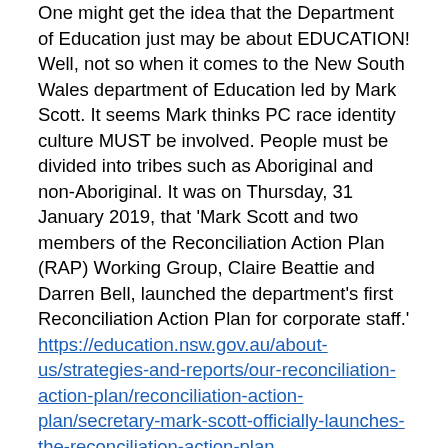One might get the idea that the Department of Education just may be about EDUCATION! Well, not so when it comes to the New South Wales department of Education led by Mark Scott. It seems Mark thinks PC race identity culture MUST be involved. People must be divided into tribes such as Aboriginal and non-Aboriginal. It was on Thursday, 31 January 2019, that 'Mark Scott and two members of the Reconciliation Action Plan (RAP) Working Group, Claire Beattie and Darren Bell, launched the department's first Reconciliation Action Plan for corporate staff.' https://education.nsw.gov.au/about-us/strategies-and-reports/our-reconciliation-action-plan/reconciliation-action-plan/secretary-mark-scott-officially-launches-the-reconciliation-action-plan
The following is a transcript of that meeting. It is LONG but please NOTE that Clair Beattie, one of the panel, says that